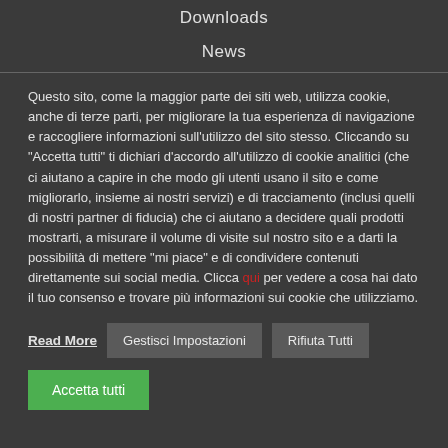Downloads
News
Questo sito, come la maggior parte dei siti web, utilizza cookie, anche di terze parti, per migliorare la tua esperienza di navigazione e raccogliere informazioni sull'utilizzo del sito stesso. Cliccando su "Accetta tutti" ti dichiari d'accordo all'utilizzo di cookie analitici (che ci aiutano a capire in che modo gli utenti usano il sito e come migliorarlo, insieme ai nostri servizi) e di tracciamento (inclusi quelli di nostri partner di fiducia) che ci aiutano a decidere quali prodotti mostrarti, a misurare il volume di visite sul nostro sito e a darti la possibilità di mettere "mi piace" e di condividere contenuti direttamente sui social media. Clicca qui per vedere a cosa hai dato il tuo consenso e trovare più informazioni sui cookie che utilizziamo.
Read More
Gestisci Impostazioni
Rifiuta Tutti
Accetta tutti